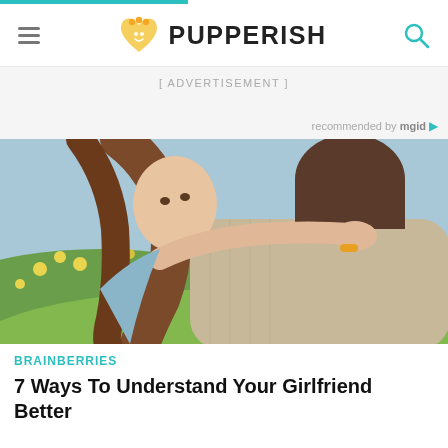PUPPERISH
[ ADVERTISEMENT ]
recommended by mgid
[Figure (photo): A young woman with long brown hair hugging a man from behind, looking over his shoulder at the camera. Background shows yellow flowers and greenery.]
BRAINBERRIES
7 Ways To Understand Your Girlfriend Better